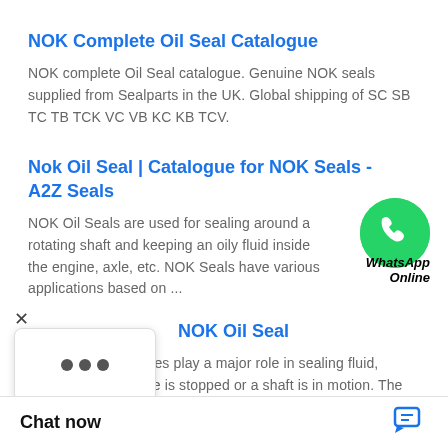NOK Complete Oil Seal Catalogue
NOK complete Oil Seal catalogue. Genuine NOK seals supplied from Sealparts in the UK. Global shipping of SC SB TC TB TCK VC VB KC KB TCV.
Nok Oil Seal | Catalogue for NOK Seals - A2Z Seals
[Figure (logo): WhatsApp Online green circle badge with phone icon and italic text 'WhatsApp Online']
NOK Oil Seals are used for sealing around a rotating shaft and keeping an oily fluid inside the engine, axle, etc. NOK Seals have various applications based on ...
NOK Oil Seal
eals used in machines play a major role in sealing fluid, whether the machine is stopped or a shaft is in motion. The frictional force of the lip
Chat now